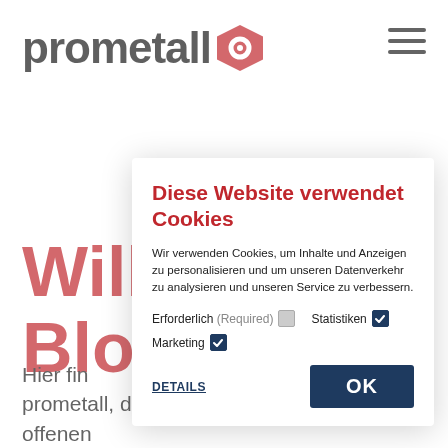[Figure (logo): prometall logo with red hexagonal icon and hamburger menu icon]
Will Blog
Hier fin prometall, der aktuellen Marktsituation, offenen
Diese Website verwendet Cookies
Wir verwenden Cookies, um Inhalte und Anzeigen zu personalisieren und um unseren Datenverkehr zu analysieren und unseren Service zu verbessern.
Erforderlich (Required) Statistiken Marketing
DETAILS OK